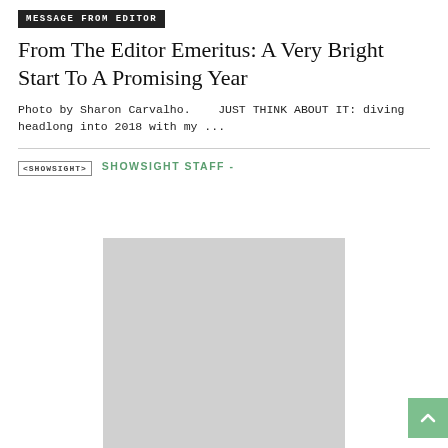MESSAGE FROM EDITOR
From The Editor Emeritus: A Very Bright Start To A Promising Year
Photo by Sharon Carvalho.    JUST THINK ABOUT IT: diving headlong into 2018 with my ...
[Figure (logo): Showsight logo badge with text SHOWSIGHT in small caps]
SHOWSIGHT STAFF -
[Figure (photo): Gray placeholder image representing a photo]